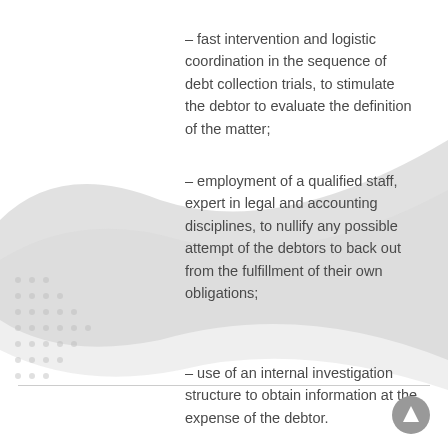– fast intervention and logistic coordination in the sequence of debt collection trials, to stimulate the debtor to evaluate the definition of the matter;
– employment of a qualified staff, expert in legal and accounting disciplines, to nullify any possible attempt of the debtors to back out from the fulfillment of their own obligations;
– use of an internal investigation structure to obtain information at the expense of the debtor.